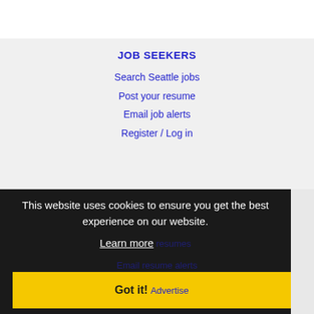JOB SEEKERS
Search Seattle jobs
Post your resume
Email job alerts
Register / Log in
This website uses cookies to ensure you get the best experience on our website.
Learn more
Got it!